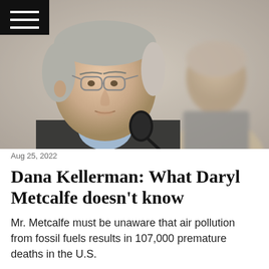[Figure (photo): A middle-aged man with glasses and grey hair speaking into a microphone at what appears to be a hearing or panel discussion. He is wearing a dark suit jacket and light blue shirt. A second person is visible in the background, out of focus.]
Aug 25, 2022
Dana Kellerman: What Daryl Metcalfe doesn't know
Mr. Metcalfe must be unaware that air pollution from fossil fuels results in 107,000 premature deaths in the U.S.